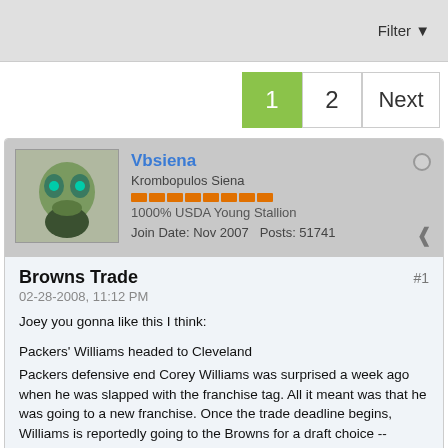Filter
1  2  Next
Vbsiena
Krombopulos Siena
1000% USDA Young Stallion
Join Date: Nov 2007   Posts: 51741
Browns Trade
02-28-2008, 11:12 PM
#1
Joey you gonna like this I think:

Packers' Williams headed to Cleveland
Packers defensive end Corey Williams was surprised a week ago when he was slapped with the franchise tag. All it meant was that he was going to a new franchise. Once the trade deadline begins, Williams is reportedly going to the Browns for a draft choice -- possibly a second-rounder -- and sign a lucrative six-year deal.

Williams was hoping to hit the free-agent market, but the Packers decided to protect themselves from losing him without compensation. The franchise tag